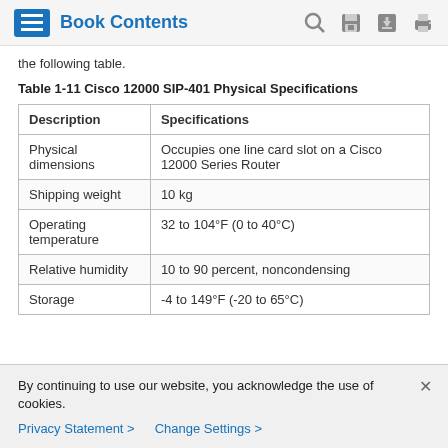Book Contents
the following table.
Table 1-11 Cisco 12000 SIP-401 Physical Specifications
| Description | Specifications |
| --- | --- |
| Physical dimensions | Occupies one line card slot on a Cisco 12000 Series Router |
| Shipping weight | 10 kg |
| Operating temperature | 32 to 104°F (0 to 40°C) |
| Relative humidity | 10 to 90 percent, noncondensing |
| Storage | -4 to 149°F (-20 to 65°C) |
By continuing to use our website, you acknowledge the use of cookies.
Privacy Statement > Change Settings >